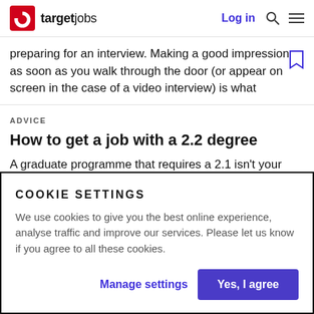targetjobs  Log in
preparing for an interview. Making a good impression as soon as you walk through the door (or appear on screen in the case of a video interview) is what
ADVICE
How to get a job with a 2.2 degree
A graduate programme that requires a 2.1 isn't your only way into a career. While some big graduate
COOKIE SETTINGS
We use cookies to give you the best online experience, analyse traffic and improve our services. Please let us know if you agree to all these cookies.
Manage settings  Yes, I agree